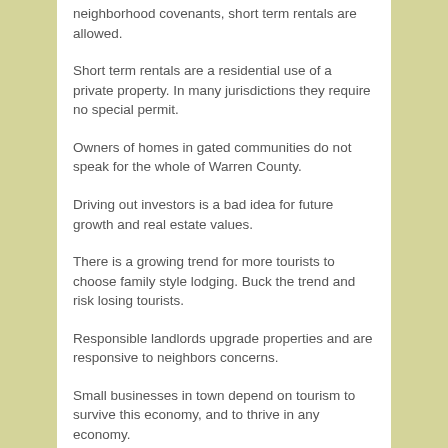neighborhood covenants, short term rentals are allowed.
Short term rentals are a residential use of a private property. In many jurisdictions they require no special permit.
Owners of homes in gated communities do not speak for the whole of Warren County.
Driving out investors is a bad idea for future growth and real estate values.
There is a growing trend for more tourists to choose family style lodging. Buck the trend and risk losing tourists.
Responsible landlords upgrade properties and are responsive to neighbors concerns.
Small businesses in town depend on tourism to survive this economy, and to thrive in any economy.